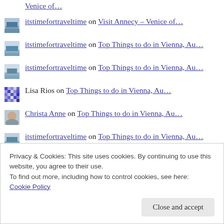Venice of…
itstimefortraveltime on Visit Annecy – Venice of…
itstimefortraveltime on Top Things to do in Vienna, Au…
itstimefortraveltime on Top Things to do in Vienna, Au…
Lisa Rios on Top Things to do in Vienna, Au…
Christa Anne on Top Things to do in Vienna, Au…
itstimefortraveltime on Top Things to do in Vienna, Au…
Privacy & Cookies: This site uses cookies. By continuing to use this website, you agree to their use.
To find out more, including how to control cookies, see here: Cookie Policy
Close and accept